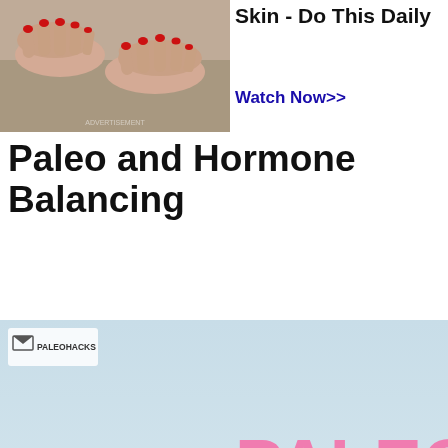[Figure (photo): Hands with red nail polish resting flat, elderly skin texture, on a fabric background — partial top portion of ad image]
Skin - Do This Daily
Watch Now>>
Paleo and Hormone Balancing
[Figure (photo): Paleohacks branded image showing stacked balanced stones held in open hands, with large text reading PALEO AND HORMONE Balancing in pink and light blue]
Search for
Natural Hormone Replacement Therapy